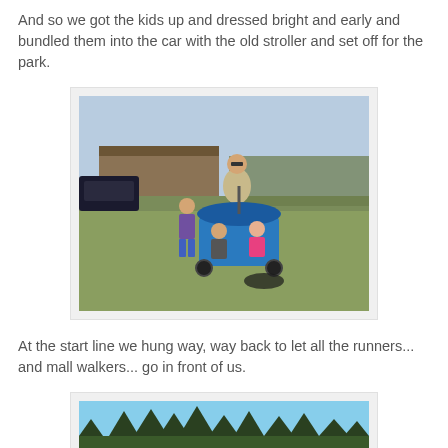And so we got the kids up and dressed bright and early and bundled them into the car with the old stroller and set off for the park.
[Figure (photo): Person pushing a blue double stroller with two young children in it, another child walking alongside, in an open grassy park area with cars and a building in background.]
At the start line we hung way, way back to let all the runners... and mall walkers... go in front of us.
[Figure (photo): Outdoor scene showing a line of bare trees against a blue sky at a park, partially visible at bottom of page.]